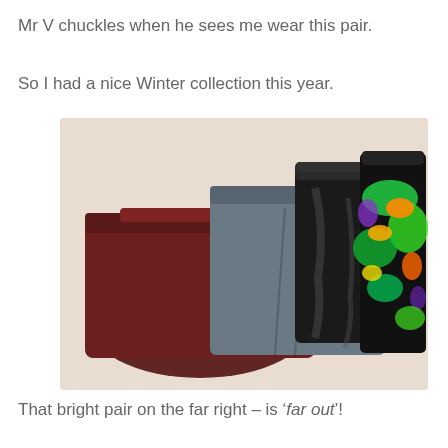Mr V chuckles when he sees me wear this pair.
So I had a nice Winter collection this year.
[Figure (photo): Four pairs of shorts/skorts laid out overlapping on a light surface: a dark burgundy/maroon pair on the left, a grey pair next, a black shiny/leather-look pair, and a bright multicolored tropical print pair on the far right.]
That bright pair on the far right – is 'far out'!